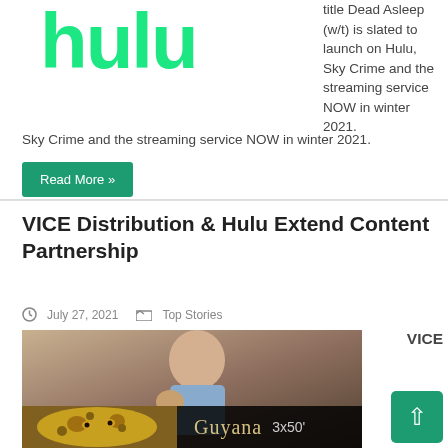[Figure (logo): Hulu logo in green text on white background]
title Dead Asleep (w/t) is slated to launch on Hulu, Sky Crime and the streaming service NOW in winter 2021.
Read More »
VICE Distribution & Hulu Extend Content Partnership
July 27, 2021   Top Stories
[Figure (photo): Woman with fist raised, wearing blue denim shirt, with Guyana 3x50' banner overlay featuring a leopard]
VICE